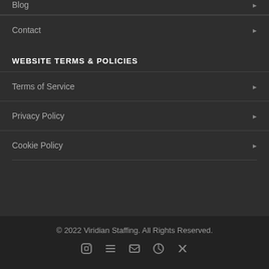Blog
Contact
WEBSITE TERMS & POLICIES
Terms of Service
Privacy Policy
Cookie Policy
© 2022 Viridian Staffing. All Rights Reserved.